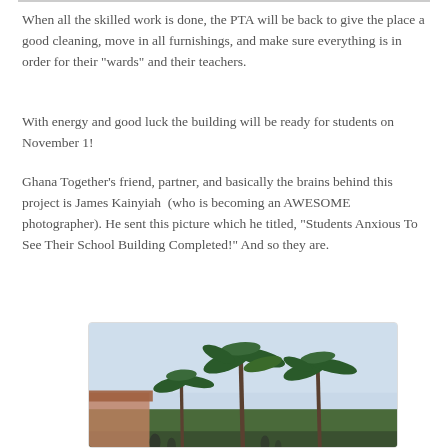When all the skilled work is done, the PTA will be back to give the place a good cleaning, move in all furnishings, and make sure everything is in order for their "wards" and their teachers.
With energy and good luck the building will be ready for students on November 1!
Ghana Together's friend, partner, and basically the brains behind this project is James Kainyiah  (who is becoming an AWESOME photographer). He sent this picture which he titled, "Students Anxious To See Their School Building Completed!" And so they are.
[Figure (photo): Outdoor scene with palm trees against a light blue sky, with a school building partially visible at the lower left and students visible at the bottom.]